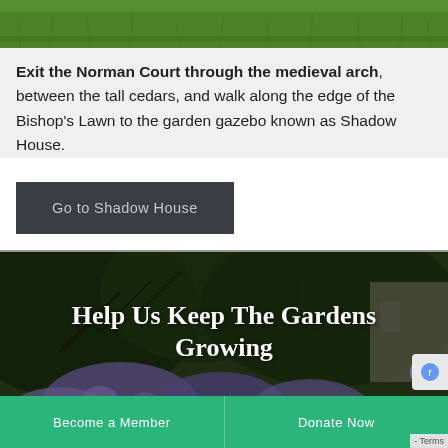[Figure (photo): Green grass lawn photo at top of page]
Exit the Norman Court through the medieval arch, between the tall cedars, and walk along the edge of the Bishop's Lawn to the garden gazebo known as Shadow House.
Go to Shadow House
[Figure (photo): Garden photo with purple hydrangea flowers and trees, overlaid with white text 'Help Us Keep The Gardens Growing' and two green buttons 'Become a Member' and 'Donate Now']
Help Us Keep The Gardens Growing
Become a Member
Donate Now